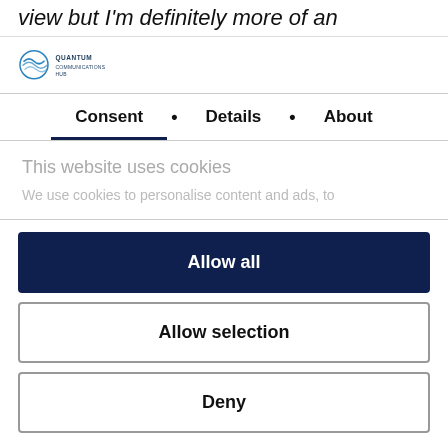view but I'm definitely more of an
[Figure (logo): Quantum Communications Hub logo with stylized wave icon and text]
Consent • Details • About
This website uses cookies
We use cookies to personalise content and ads, to
Allow all
Allow selection
Deny
Powered by Cookiebot by Usercentrics
My work is all focused on underwater